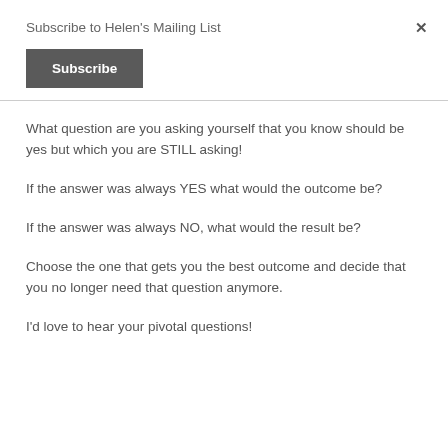Subscribe to Helen's Mailing List
Subscribe
What question are you asking yourself that you know should be yes but which you are STILL asking!
If the answer was always YES what would the outcome be?
If the answer was always NO, what would the result be?
Choose the one that gets you the best outcome and decide that you no longer need that question anymore.
I'd love to hear your pivotal questions!